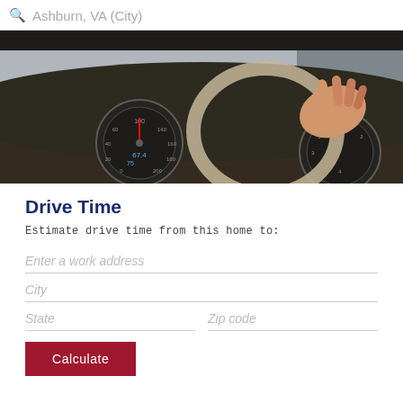Ashburn, VA (City)
[Figure (photo): Person's hand gripping a steering wheel with dashboard speedometers visible in background, blurred bokeh effect]
Drive Time
Estimate drive time from this home to:
Enter a work address
City
State
Zip code
Calculate